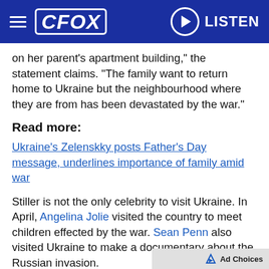CFOX | LISTEN
on her parent's apartment building," the statement claims. "The family want to return home to Ukraine but the neighbourhood where they are from has been devastated by the war."
Read more:
Ukraine's Zelenskky posts Father's Day message, underlines importance of family amid war
Stiller is not the only celebrity to visit Ukraine. In April, Angelina Jolie visited the country to meet children effected by the war. Sean Penn also visited Ukraine to make a documentary about the Russian invasion.
Since Russia's invasion in February, more than 12 million Ukrainian residents have fled their